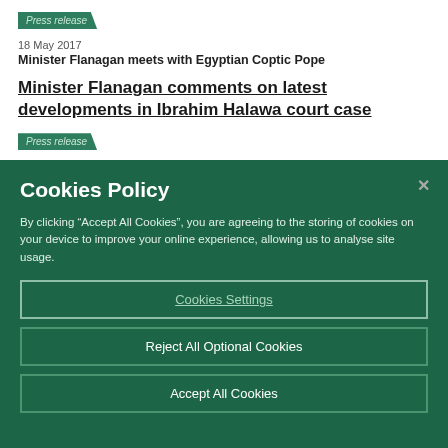Press release
18 May 2017
Minister Flanagan meets with Egyptian Coptic Pope
Minister Flanagan comments on latest developments in Ibrahim Halawa court case
Press release
Cookies Policy
By clicking “Accept All Cookies”, you are agreeing to the storing of cookies on your device to improve your online experience, allowing us to analyse site usage.
Cookies Settings
Reject All Optional Cookies
Accept All Cookies